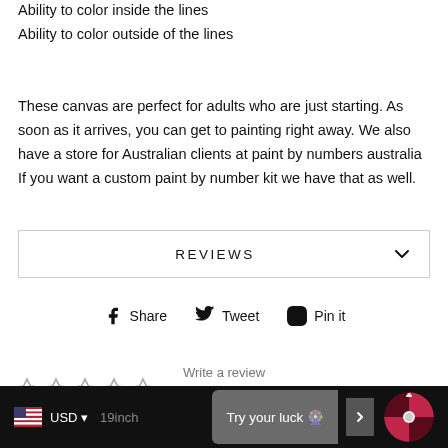Ability to color inside the lines
Ability to color outside of the lines
These canvas are perfect for adults who are just starting. As soon as it arrives, you can get to painting right away. We also have a store for Australian clients at paint by numbers australia If you want a custom paint by number kit we have that as well.
REVIEWS
Share  Tweet  Pin it
[Figure (other): Five empty star rating icons]
Write a review